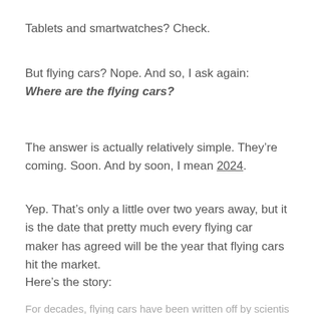Tablets and smartwatches? Check.
But flying cars? Nope. And so, I ask again: Where are the flying cars?
The answer is actually relatively simple. They’re coming. Soon. And by soon, I mean 2024.
Yep. That’s only a little over two years away, but it is the date that pretty much every flying car maker has agreed will be the year that flying cars hit the market.
Here’s the story:
For decades, flying cars have been written off by scientists...